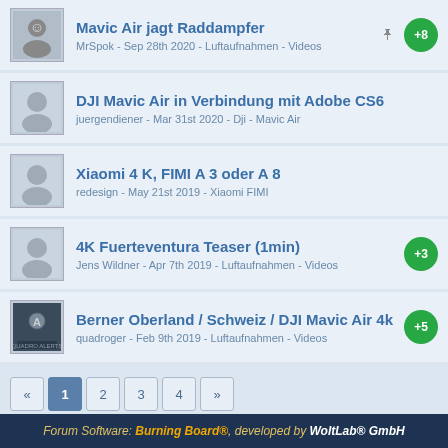Mavic Air jagt Raddampfer — MrSpok - Sep 28th 2020 - Luftaufnahmen - Videos (+8)
DJI Mavic Air in Verbindung mit Adobe CS6 — juergendiener - Mar 31st 2020 - Dji - Mavic Air
Xiaomi 4 K, FIMI A 3 oder A 8 — redesign - May 21st 2019 - Xiaomi FIMI
4K Fuerteventura Teaser (1min) — Jens Wildner - Apr 7th 2019 - Luftaufnahmen - Videos (+3)
Berner Oberland / Schweiz / DJI Mavic Air 4k — quadroger - Feb 9th 2019 - Luftaufnahmen - Videos (+5)
« 1 2 3 4 »
Legal Notice  Privacy Policy  Frequently Asked Questions  Rules  Cookie Settings
Forum Software: Burning Board®, developed by WoltLab® GmbH